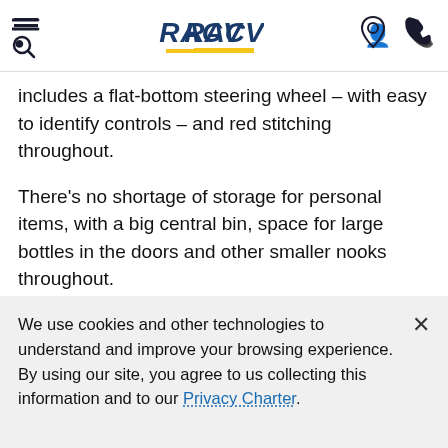RACV
includes a flat-bottom steering wheel – with easy to identify controls – and red stitching throughout.
There's no shortage of storage for personal items, with a big central bin, space for large bottles in the doors and other smaller nooks throughout.
Ford's top-notch digital instrument cluster has a crystal-clear adjustable display, making it easy to find vehicle information such as fuel economy.
The 8.0-inch central touchscreen that houses the
We use cookies and other technologies to understand and improve your browsing experience. By using our site, you agree to us collecting this information and to our Privacy Charter.